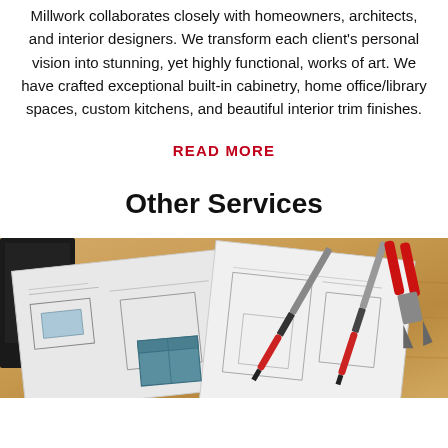Millwork collaborates closely with homeowners, architects, and interior designers. We transform each client's personal vision into stunning, yet highly functional, works of art. We have crafted exceptional built-in cabinetry, home office/library spaces, custom kitchens, and beautiful interior trim finishes.
READ MORE
Other Services
[Figure (photo): A wooden workbench with tools: screwdrivers, red-handled pliers, blueprints/technical drawings, a small metal box component, and a laptop partially visible at the edge.]